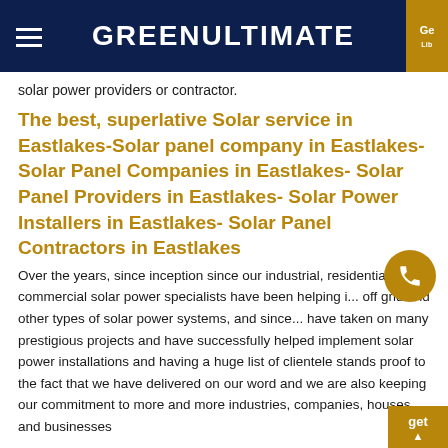GREENULTIMATE
solar power providers or contractor.
The best, superlative Solar service in Eastlakes-Solar panel company in Eastlakes- Solar Panel Companies in Eastlakes- Solar Panel Providers in Eastlakes- Solar Power Installers in Eastlakes- Solar Panel Contractors in Eastlakes
Over the years, since inception since our industrial, residential and commercial solar power specialists have been helping i... off grid and other types of solar power systems, and since... have taken on many prestigious projects and have successfully helped implement solar power installations and having a huge list of clientele stands proof to the fact that we have delivered on our word and we are also keeping our commitment to more and more industries, companies, houses and businesses